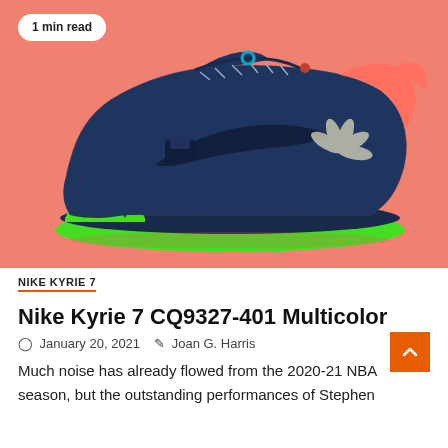[Figure (photo): Nike Kyrie 7 CQ9327-401 Multicolor basketball shoe on a salmon/coral pink background, side view showing navy blue upper with multicolor pattern, neon green outsole, and pink collar]
1 min read
NIKE KYRIE 7
Nike Kyrie 7 CQ9327-401 Multicolor
January 20, 2021   Joan G. Harris
Much noise has already flowed from the 2020-21 NBA season, but the outstanding performances of Stephen...